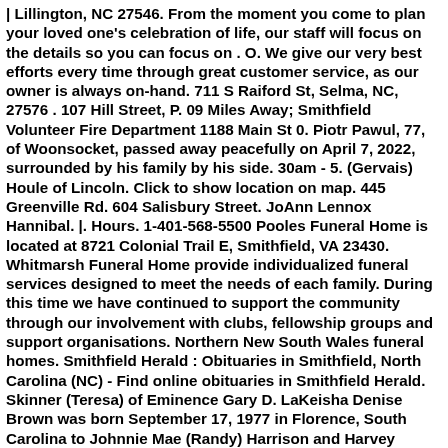| Lillington, NC 27546. From the moment you come to plan your loved one's celebration of life, our staff will focus on the details so you can focus on . O. We give our very best efforts every time through great customer service, as our owner is always on-hand. 711 S Raiford St, Selma, NC, 27576 . 107 Hill Street, P. 09 Miles Away; Smithfield Volunteer Fire Department 1188 Main St 0. Piotr Pawul, 77, of Woonsocket, passed away peacefully on April 7, 2022, surrounded by his family by his side. 30am - 5. (Gervais) Houle of Lincoln. Click to show location on map. 445 Greenville Rd. 604 Salisbury Street. JoAnn Lennox Hannibal. |. Hours. 1-401-568-5500 Pooles Funeral Home is located at 8721 Colonial Trail E, Smithfield, VA 23430. Whitmarsh Funeral Home provide individualized funeral services designed to meet the needs of each family. During this time we have continued to support the community through our involvement with clubs, fellowship groups and support organisations. Northern New South Wales funeral homes. Smithfield Herald : Obituaries in Smithfield, North Carolina (NC) - Find online obituaries in Smithfield Herald. Skinner (Teresa) of Eminence Gary D. LaKeisha Denise Brown was born September 17, 1977 in Florence, South Carolina to Johnnie Mae (Randy) Harrison and Harvey (Margaret) Davis. Here at Marrs-Jones Funeral Home, All Faiths of the Pines Chapel, our team can work closely with you to handle an abundance of end-of-life needs and concerns. We